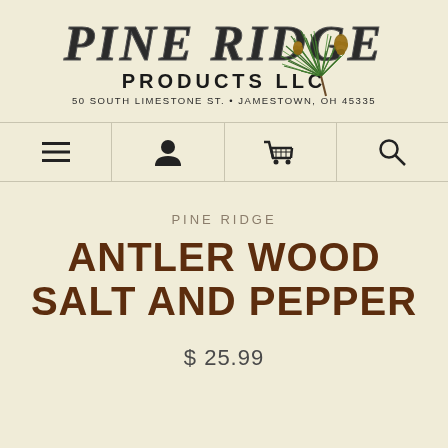[Figure (logo): Pine Ridge Products LLC logo with carved-style text and pine branch with pinecones decoration]
[Figure (infographic): Navigation bar with four icons: hamburger menu, user/person icon, shopping cart icon, and search/magnifying glass icon]
PINE RIDGE
ANTLER WOOD SALT AND PEPPER
$ 25.99